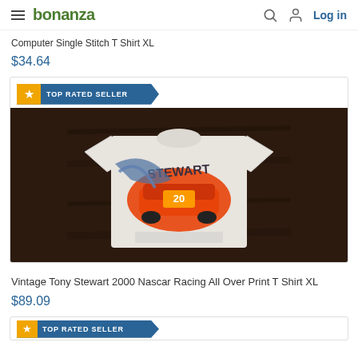bonanza | Log in
Computer Single Stitch T Shirt XL
$34.64
[Figure (photo): Product listing card for a vintage NASCAR t-shirt on Bonanza marketplace. Shows a white t-shirt with Tony Stewart 2000 Nascar Racing All Over Print graphic featuring an orange race car. Card has a TOP RATED SELLER badge.]
Vintage Tony Stewart 2000 Nascar Racing All Over Print T Shirt XL
$89.09
[Figure (other): Bottom of another product card showing TOP RATED SELLER badge, partially visible.]